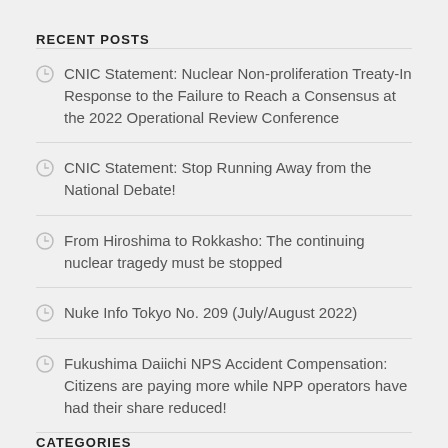RECENT POSTS
CNIC Statement: Nuclear Non-proliferation Treaty-In Response to the Failure to Reach a Consensus at the 2022 Operational Review Conference
CNIC Statement: Stop Running Away from the National Debate!
From Hiroshima to Rokkasho: The continuing nuclear tragedy must be stopped
Nuke Info Tokyo No. 209 (July/August 2022)
Fukushima Daiichi NPS Accident Compensation: Citizens are paying more while NPP operators have had their share reduced!
CATEGORIES